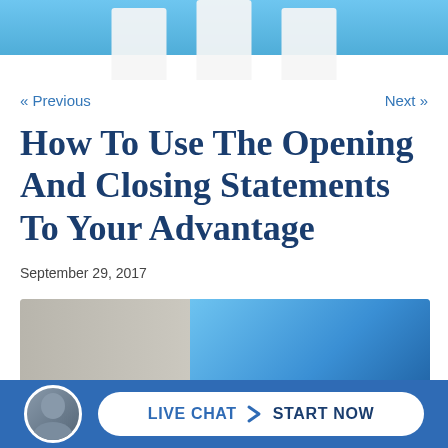[Figure (photo): Top header photo showing white marble columns against a blue sky background]
« Previous
Next »
How To Use The Opening And Closing Statements To Your Advantage
September 29, 2017
[Figure (photo): Article thumbnail image showing courthouse columns on the left and blue sky on the right]
[Figure (infographic): Live Chat bar with a man's headshot avatar and a white pill-shaped button reading LIVE CHAT > START NOW on a blue background]